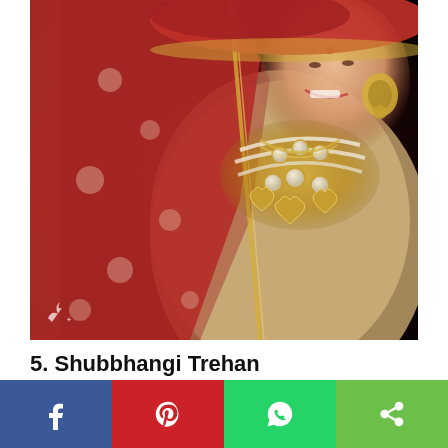[Figure (photo): A bride wearing a red floral dupatta, elaborate gold kundan/pearl necklace jewelry, and a beige/gold embroidered outfit, smiling against a dark background.]
5. Shubbhangi Trehan
[Figure (infographic): Social media share bar with four buttons: Facebook (blue), Pinterest (red), WhatsApp (green), and a generic share button (light green).]